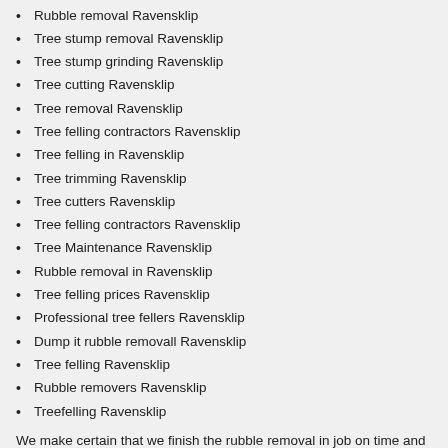Rubble removal Ravensklip
Tree stump removal Ravensklip
Tree stump grinding Ravensklip
Tree cutting Ravensklip
Tree removal Ravensklip
Tree felling contractors Ravensklip
Tree felling in Ravensklip
Tree trimming Ravensklip
Tree cutters Ravensklip
Tree felling contractors Ravensklip
Tree Maintenance Ravensklip
Rubble removal in Ravensklip
Tree felling prices Ravensklip
Professional tree fellers Ravensklip
Dump it rubble removall Ravensklip
Tree felling Ravensklip
Rubble removers Ravensklip
Treefelling Ravensklip
We make certain that we finish the rubble removal in job on time and to do it at the best of our ability
Do not hesitate, contact us today and our call centre agents will gladly help you
We are the best Tree felling contractors company in Ravensklip so give us a call at: 010 880 2784 today!